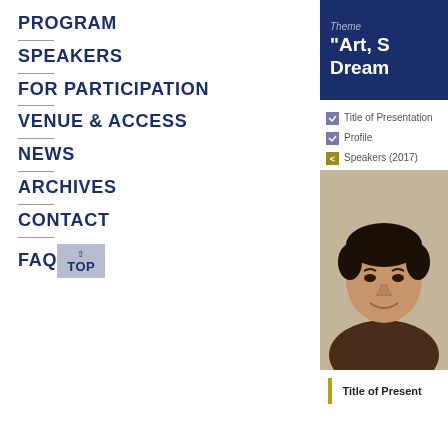PROGRAM
SPEAKERS
FOR PARTICIPATION
VENUE & ACCESS
NEWS
ARCHIVES
CONTACT
FAQ
TOP
Theme “Art, S... Dream...
Title of Presentation
Profile
Speakers (2017)
[Figure (photo): Headshot photo of an Asian male speaker smiling, wearing a dark brown shirt, against a beige/tan background.]
Title of Present